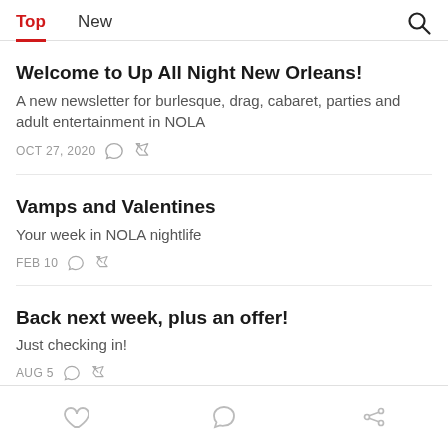Top  New
Welcome to Up All Night New Orleans!
A new newsletter for burlesque, drag, cabaret, parties and adult entertainment in NOLA
OCT 27, 2020
Vamps and Valentines
Your week in NOLA nightlife
FEB 10
Back next week, plus an offer!
Just checking in!
AUG 5